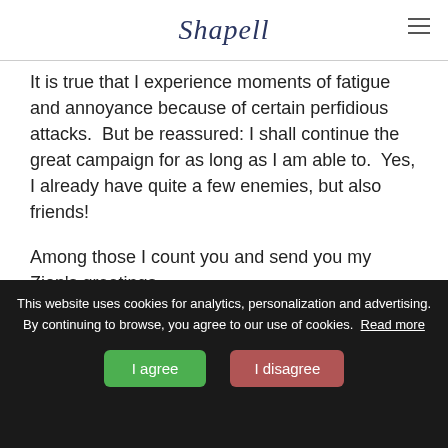Shapell
It is true that I experience moments of fatigue and annoyance because of certain perfidious attacks.  But be reassured: I shall continue the great campaign for as long as I am able to.  Yes, I already have quite a few enemies, but also friends!
Among those I count you and send you my Zion's greetings.
Your devoted
TH HERZL
This website uses cookies for analytics, personalization and advertising. By continuing to browse, you agree to our use of cookies. Read more